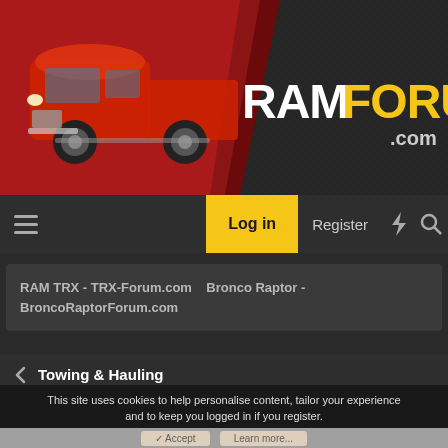[Figure (screenshot): RAM Forum website header with red Dodge Ram truck on left and RAMFORUM.com logo on right against dark metal background]
RAMFORUM.com
Log in   Register
RAM TRX - TRX-Forum.com   Bronco Raptor - BroncoRaptorForum.com
< Towing & Hauling
This site uses cookies to help personalise content, tailor your experience and to keep you logged in if you register.
By continuing to use this site, you are consenting to our use of cookies.